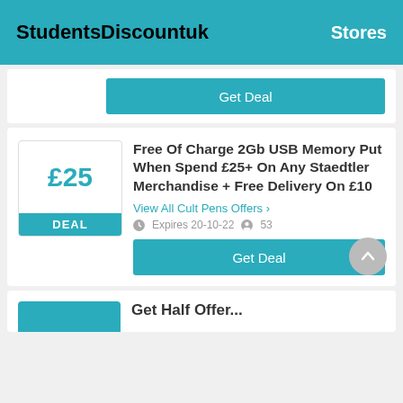StudentsDiscountuk   Stores
[Figure (screenshot): Top deal card with Get Deal button]
Free Of Charge 2Gb USB Memory Put When Spend £25+ On Any Staedtler Merchandise + Free Delivery On £10
View All Cult Pens Offers >
Expires 20-10-22   53
Get Deal
Get Half Offer...